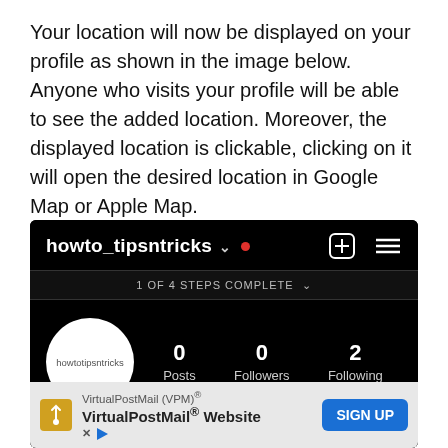Your location will now be displayed on your profile as shown in the image below. Anyone who visits your profile will be able to see the added location. Moreover, the displayed location is clickable, clicking on it will open the desired location in Google Map or Apple Map.
[Figure (screenshot): Instagram profile screenshot showing username 'howto_tipsntricks' with a red dot, plus and menu icons, '1 OF 4 STEPS COMPLETE' bar, profile avatar circle with text 'howtotipsntricks', stats showing 0 Posts, 0 Followers, 2 Following, display name 'Howtotipsntricks', and a partial location row. An ad banner at the bottom shows VirtualPostMail (VPM) with a SIGN UP button.]